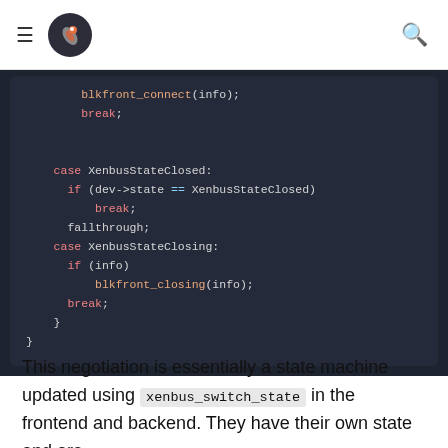[hamburger menu] [logo] [search icon]
[Figure (screenshot): Code block showing C code with cases for XenbusStateClosed and XenbusStateClosing, including blkfront_closing function call and break statements, on dark background]
This negotiation is essentially a state machine updated using xenbus_switch_state in the frontend and backend. They have their own state and are